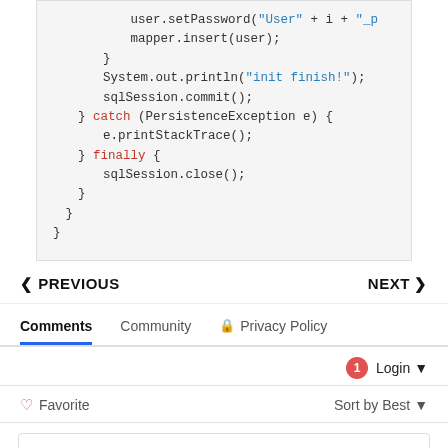[Figure (screenshot): Code block showing Java code snippet with catch and finally blocks, including user.setPassword, mapper.insert, System.out.println, sqlSession.commit, e.printStackTrace, sqlSession.close statements.]
< PREVIOUS    NEXT >
Comments   Community   Privacy Policy
1  Login
Favorite   Sort by Best
Start the discussion...